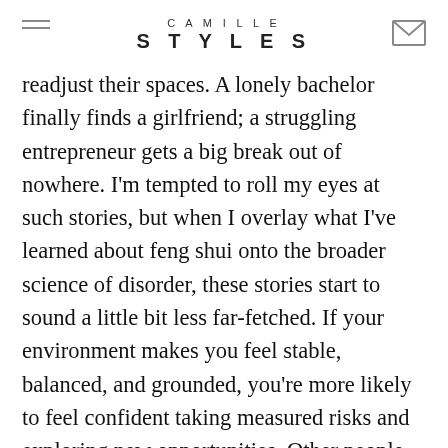CAMILLE STYLES
readjust their spaces. A lonely bachelor finally finds a girlfriend; a struggling entrepreneur gets a big break out of nowhere. I'm tempted to roll my eyes at such stories, but when I overlay what I've learned about feng shui onto the broader science of disorder, these stories start to sound a little bit less far-fetched. If your environment makes you feel stable, balanced, and grounded, you're more likely to feel confident taking measured risks and exploring new opportunities. Other people may notice your calm, unhurried demeanor and be drawn to you. And as we've seen, orderly